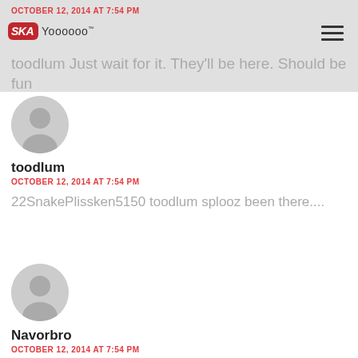OCTOBER 12, 2014 AT 7:54 PM — SKA Yoooooo™ — toodlum Just wait for it. They'll be here. Should be fun
toodlum
OCTOBER 12, 2014 AT 7:54 PM
22SnakePlissken5150 toodlum splooz  been there....
Navorbro
OCTOBER 12, 2014 AT 7:54 PM
Adam Pac Man Jones